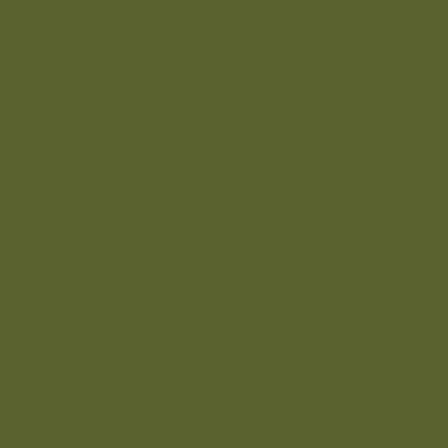| Last Name | Middle Initial | First Name |
| --- | --- | --- |
| COVERT | A. | John |
| DONNES | M. | Esther |
| DOWNS |  | Edwin |
| FARRAND | H. | Jas. |
| FINECUT |  | Clark |
| FISHER |  | Hanna |
| GAGNIER | J. | Barney |
| HALL | R. | Wm. |
| HELMS |  | David |
| HOUSE |  | Flora |
| HOWARD | B. | Francis |
| HOWE | M. | Frank |
| HUFFMAN | E. | Eliza |
| JESSUP |  | Joseph |
| KETTLER |  | John |
| KIMBERLY | P. | Edward |
| KINGINGSMITH |  | John |
| LAMBERT |  | Jesse |
| LYONS | J. | Joseph |